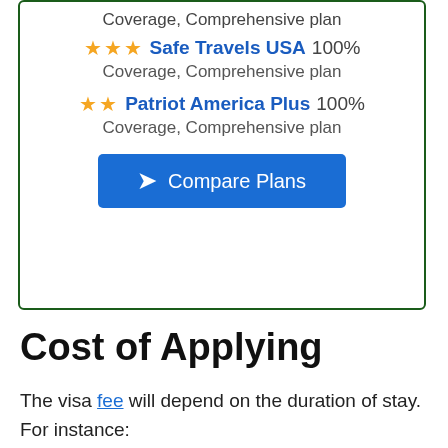Coverage, Comprehensive plan
★★★ Safe Travels USA 100%
Coverage, Comprehensive plan
★★ Patriot America Plus 100%
Coverage, Comprehensive plan
Compare Plans
Cost of Applying
The visa fee will depend on the duration of stay. For instance: